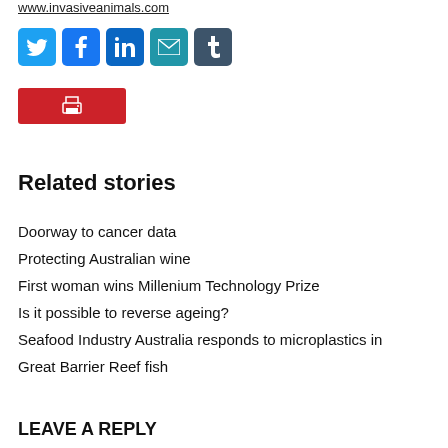www.invasiveanimals.com
[Figure (other): Social media sharing icons: Twitter (blue bird), Facebook (blue f), LinkedIn (blue in), Email (teal envelope), Tumblr (dark t)]
[Figure (other): Red print button with printer icon]
Related stories
Doorway to cancer data
Protecting Australian wine
First woman wins Millenium Technology Prize
Is it possible to reverse ageing?
Seafood Industry Australia responds to microplastics in Great Barrier Reef fish
LEAVE A REPLY